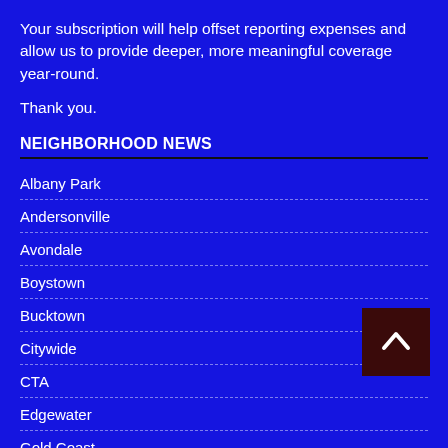Your subscription will help offset reporting expenses and allow us to provide deeper, more meaningful coverage year-round.
Thank you.
NEIGHBORHOOD NEWS
Albany Park
Andersonville
Avondale
Boystown
Bucktown
Citywide
CTA
Edgewater
Gold Coast